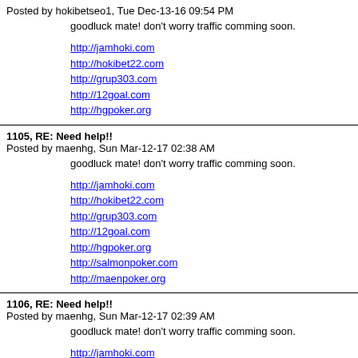Posted by hokibetseo1, Tue Dec-13-16 09:54 PM
goodluck mate! don't worry traffic comming soon.
http://jamhoki.com
http://hokibet22.com
http://grup303.com
http://12goal.com
http://hgpoker.org
1105, RE: Need help!!
Posted by maenhg, Sun Mar-12-17 02:38 AM
goodluck mate! don't worry traffic comming soon.
http://jamhoki.com
http://hokibet22.com
http://grup303.com
http://12goal.com
http://hgpoker.org
http://salmonpoker.com
http://maenpoker.org
1106, RE: Need help!!
Posted by maenhg, Sun Mar-12-17 02:39 AM
goodluck mate! don't worry traffic comming soon.
http://jamhoki.com
http://hokibet22.com
http://grup303.com
http://12goal.com
http://hgpoker.org
http://salmonpoker.com